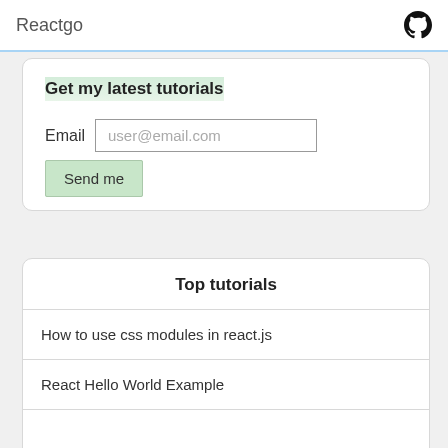Reactgo
Get my latest tutorials
Email  user@email.com
Send me
Top tutorials
How to use css modules in react.js
React Hello World Example